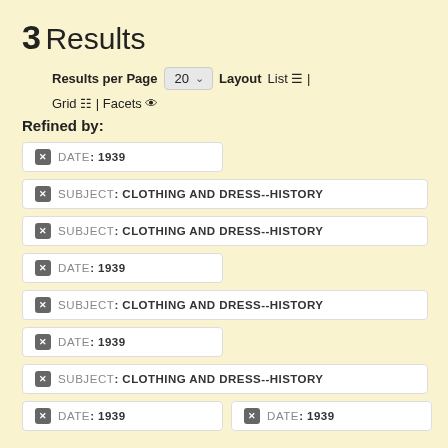3 Results
Results per Page 20 Layout List | Grid | Facets
Refined by:
DATE: 1939
SUBJECT: CLOTHING AND DRESS--HISTORY
SUBJECT: CLOTHING AND DRESS--HISTORY
DATE: 1939
SUBJECT: CLOTHING AND DRESS--HISTORY
DATE: 1939
SUBJECT: CLOTHING AND DRESS--HISTORY
DATE: 1939
DATE: 1939